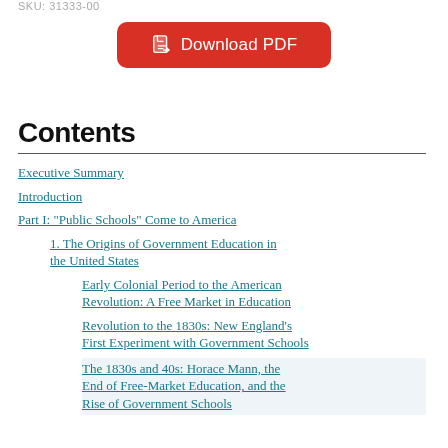SKU: 31333-00
[Figure (other): Red rounded-rectangle button labeled 'Download PDF' with a PDF file icon]
Contents
Executive Summary
Introduction
Part I: "Public Schools" Come to America
1. The Origins of Government Education in the United States
Early Colonial Period to the American Revolution: A Free Market in Education
Revolution to the 1830s: New England's First Experiment with Government Schools
The 1830s and 40s: Horace Mann, the End of Free-Market Education, and the Rise of Government Schools